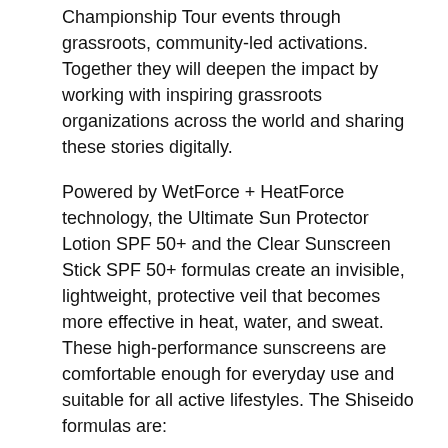Championship Tour events through grassroots, community-led activations. Together they will deepen the impact by working with inspiring grassroots organizations across the world and sharing these stories digitally.
Powered by WetForce + HeatForce technology, the Ultimate Sun Protector Lotion SPF 50+ and the Clear Sunscreen Stick SPF 50+ formulas create an invisible, lightweight, protective veil that becomes more effective in heat, water, and sweat. These high-performance sunscreens are comfortable enough for everyday use and suitable for all active lifestyles. The Shiseido formulas are:
Reef-Friendly
Free of oxybenzone & octinoxate